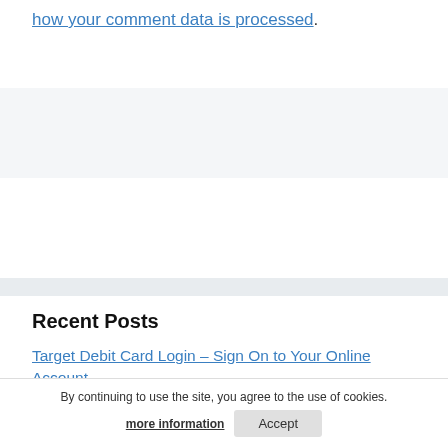how your comment data is processed.
Recent Posts
Target Debit Card Login – Sign On to Your Online Account
www.tryfundbox.com – Apply for Business Funding
https://patients.availity.com – Make a Payment Online
By continuing to use the site, you agree to the use of cookies. more information  Accept